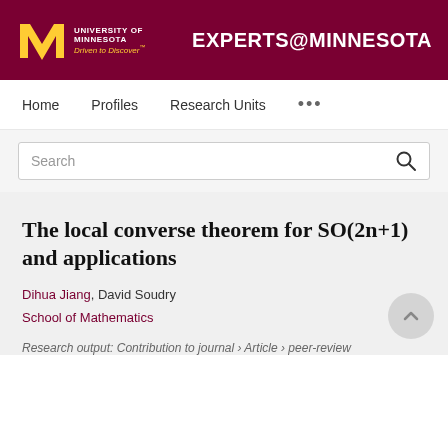UNIVERSITY OF MINNESOTA Driven to Discover® EXPERTS@MINNESOTA
Home   Profiles   Research Units   ...
Search
The local converse theorem for SO(2n+1) and applications
Dihua Jiang, David Soudry
School of Mathematics
Research output: Contribution to journal › Article › peer-review